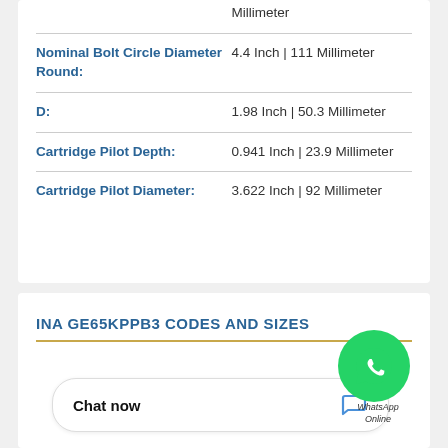| Property | Value |
| --- | --- |
|  | Millimeter |
| Nominal Bolt Circle Diameter Round: | 4.4 Inch | 111 Millimeter |
| D: | 1.98 Inch | 50.3 Millimeter |
| Cartridge Pilot Depth: | 0.941 Inch | 23.9 Millimeter |
| Cartridge Pilot Diameter: | 3.622 Inch | 92 Millimeter |
INA GE65KPPB3 CODES AND SIZES
Chat now